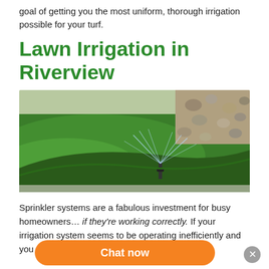goal of getting you the most uniform, thorough irrigation possible for your turf.
Lawn Irrigation in Riverview
[Figure (photo): A lawn sprinkler spraying water over a neatly trimmed green lawn, with a stone border visible in the background.]
Sprinkler systems are a fabulous investment for busy homeowners… if they're working correctly. If your irrigation system seems to be operating inefficiently and you can't seem to figu… help. Our technicians h…